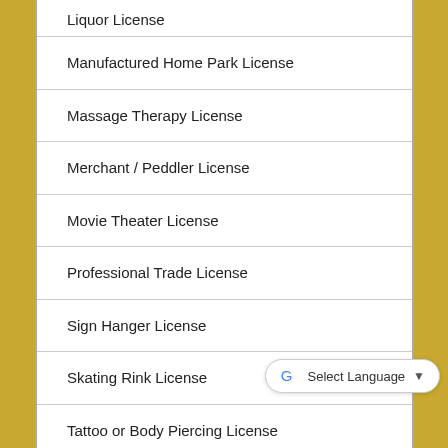Liquor License
Manufactured Home Park License
Massage Therapy License
Merchant / Peddler License
Movie Theater License
Professional Trade License
Sign Hanger License
Skating Rink License
Tattoo or Body Piercing License